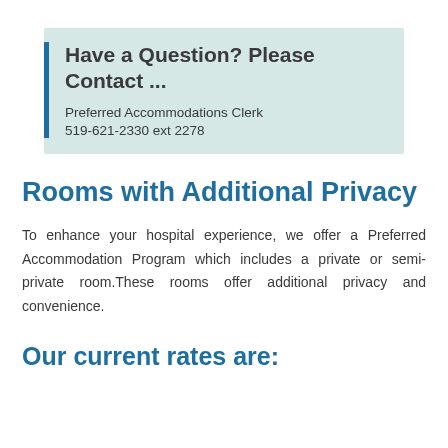Have a Question? Please Contact ...
Preferred Accommodations Clerk
519-621-2330 ext 2278
Rooms with Additional Privacy
To enhance your hospital experience, we offer a Preferred Accommodation Program which includes a private or semi-private room.These rooms offer additional privacy and convenience.
Our current rates are: